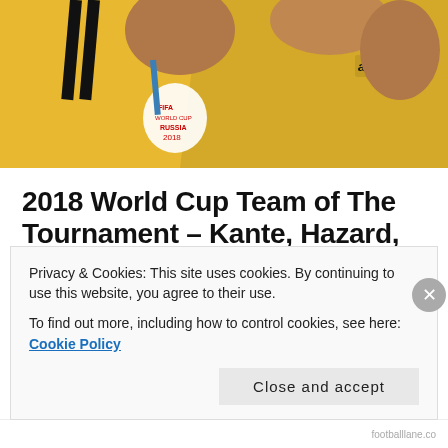[Figure (photo): Two soccer players in yellow Belgium national team jerseys celebrating, wearing medals, with a blue sky background. Adidas jerseys with 2018 FIFA World Cup Russia patch visible.]
2018 World Cup Team of The Tournament – Kante, Hazard, Godin
jul 17, 2018 by football lane, posted in 2018 fifa world cup
Privacy & Cookies: This site uses cookies. By continuing to use this website, you agree to their use.
To find out more, including how to control cookies, see here: Cookie Policy
Close and accept